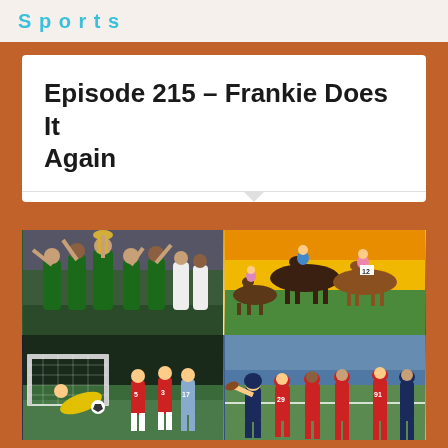Sports podcast header logo
Episode 215 – Frankie Does It Again
[Figure (photo): Collage of four sports photos: top-left shows South Africa rugby team celebrating with World Cup trophy, top-right shows horse racing with jockeys at sunset, bottom-left shows soccer/football match with goalkeeper diving, bottom-right shows American football game action]